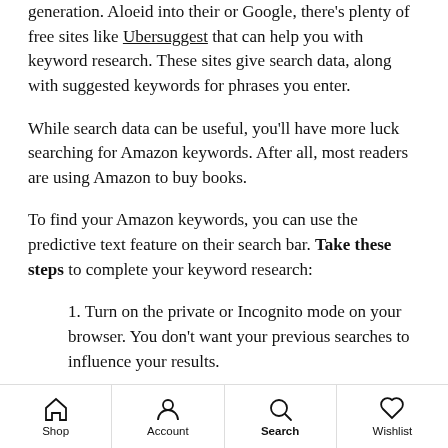generation. Aloeid into their or Google, there's plenty of free sites like Ubersuggest that can help you with keyword research. These sites give search data, along with suggested keywords for phrases you enter.
While search data can be useful, you'll have more luck searching for Amazon keywords. After all, most readers are using Amazon to buy books.
To find your Amazon keywords, you can use the predictive text feature on their search bar. Take these steps to complete your keyword research:
Turn on the private or Incognito mode on your browser. You don't want your previous searches to influence your results.
Select 'Kindle Store' as the Amazon category.
Shop  Account  Search  Wishlist